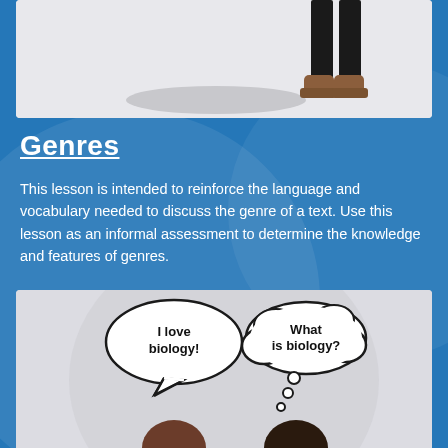[Figure (illustration): Top panel showing legs/boots of a person standing, light grey background with shadow on floor]
Genres
This lesson is intended to reinforce the language and vocabulary needed to discuss the genre of a text. Use this lesson as an informal assessment to determine the knowledge and features of genres.
[Figure (illustration): Bottom panel showing two speech/thought bubbles. Left speech bubble says 'I love biology!' and right thought bubble says 'What is biology?' with bubble dots below, and partial heads of two characters at bottom]